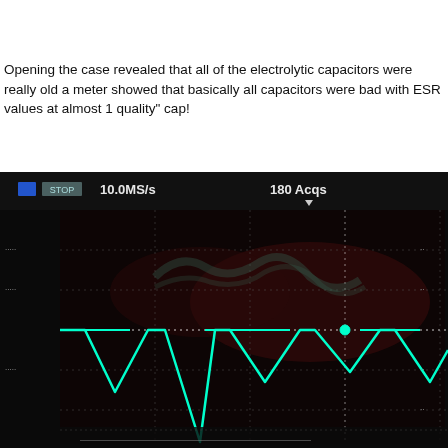Opening the case revealed that all of the electrolytic capacitors were really old a meter showed that basically all capacitors were bad with ESR values at almost 1 quality" cap!
[Figure (screenshot): Oscilloscope screen showing a sawtooth/triangular waveform in cyan/green on a dark background. Display shows '10.0MS/s' sample rate and '180 ACQS' acquisitions. There is also a persistence waveform (broader envelope shape) visible above the main waveform.]